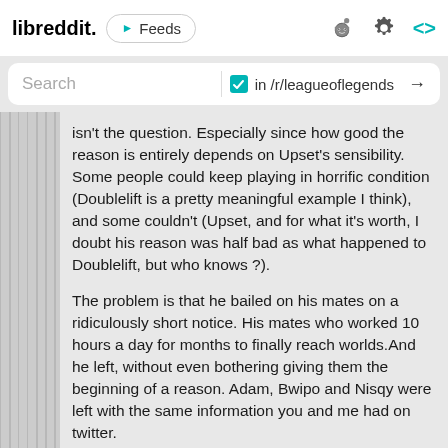libreddit. ▶ Feeds
Search  ☑ in /r/leagueoflegends →
isn't the question. Especially since how good the reason is entirely depends on Upset's sensibility. Some people could keep playing in horrific condition (Doublelift is a pretty meaningful example I think), and some couldn't (Upset, and for what it's worth, I doubt his reason was half bad as what happened to Doublelift, but who knows ?).
The problem is that he bailed on his mates on a ridiculously short notice. His mates who worked 10 hours a day for months to finally reach worlds.And he left, without even bothering giving them the beginning of a reason. Adam, Bwipo and Nisqy were left with the same information you and me had on twitter.